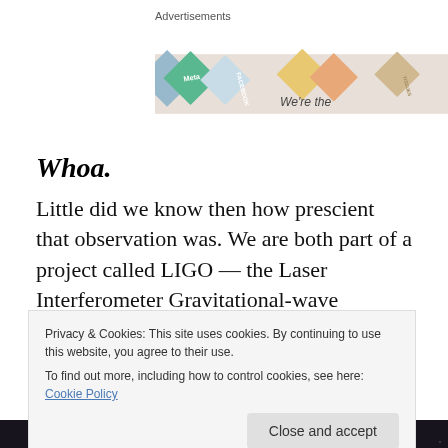[Figure (photo): Advertisement banner showing colorful diamond/tile shapes with Meta, Facebook text and 'We're the' text visible]
Whoa.
Little did we know then how prescient that observation was. We are both part of a project called LIGO — the Laser Interferometer Gravitational-wave Observatory. And
Privacy & Cookies: This site uses cookies. By continuing to use this website, you agree to their use.
To find out more, including how to control cookies, see here: Cookie Policy
[Figure (photo): Dark space/starfield image at the bottom of the page]